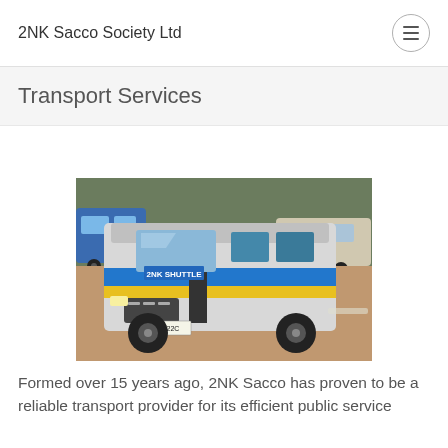2NK Sacco Society Ltd
Transport Services
[Figure (photo): A silver minivan/shuttle bus with blue and yellow stripe markings labeled '2NK SHUTTLE', license plate KCZ 722C, parked on a dusty road with other vehicles in the background.]
Formed over 15 years ago, 2NK Sacco has proven to be a reliable transport provider for its efficient public service